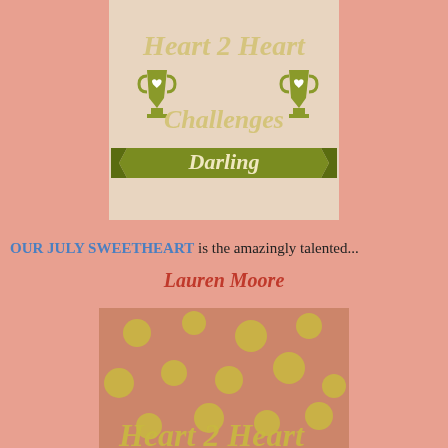[Figure (logo): Heart 2 Heart Challenges Darling logo with trophy icons and olive green banner]
OUR JULY SWEETHEART is the amazingly talented...
Lauren Moore
[Figure (illustration): Pink and gold glitter polka dot pattern background with partial cursive Heart 2 Heart text at bottom]